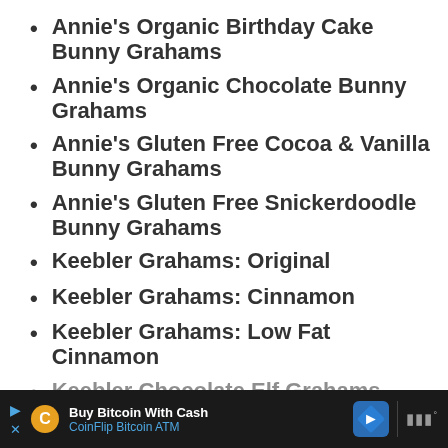Annie's Organic Birthday Cake Bunny Grahams
Annie's Organic Chocolate Bunny Grahams
Annie's Gluten Free Cocoa & Vanilla Bunny Grahams
Annie's Gluten Free Snickerdoodle Bunny Grahams
Keebler Grahams: Original
Keebler Grahams: Cinnamon
Keebler Grahams: Low Fat Cinnamon
Keebler Chocolate Elf Grahams
Buy Bitcoin With Cash CoinFlip Bitcoin ATM